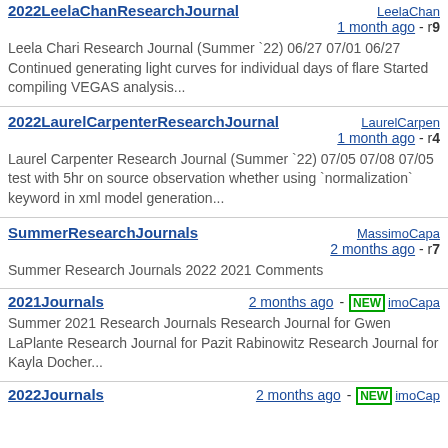2022LeelaChanResearchJournal - LeelaChan - 1 month ago - r9 - Leela Chari Research Journal (Summer `22) 06/27 07/01 06/27 Continued generating light curves for individual days of flare Started compiling VEGAS analysis...
2022LaurelCarpenterResearchJournal - LaurelCarpen - 1 month ago - r4 - Laurel Carpenter Research Journal (Summer `22) 07/05 07/08 07/05 test with 5hr on source observation whether using `normalization` keyword in xml model generation...
SummerResearchJournals - MassimoCapa - 2 months ago - r7 - Summer Research Journals 2022 2021 Comments
2021Journals - 2 months ago - NEW - imoCapa - Summer 2021 Research Journals Research Journal for Gwen LaPlante Research Journal for Pazit Rabinowitz Research Journal for Kayla Docher...
2022Journals - 2 months ago - NEW - imoCap